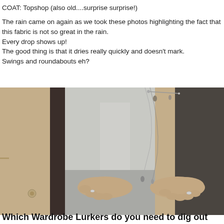COAT: Topshop (also old....surprise surprise!)
The rain came on again as we took these photos highlighting the fact that this fabric is not so great in the rain.
Every drop shows up!
The good thing is that it dries really quickly and doesn't mark.
Swings and roundabouts eh?
[Figure (photo): Close-up photo of a person wearing a beige/khaki trench coat over a light grey silky blouse, with hands on hips showing silver rings and layered necklaces.]
Which Wardrobe Lurkers do you need to dig out